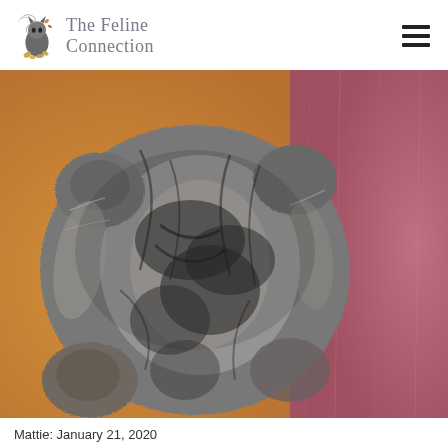The Feline Connection
[Figure (photo): Close-up photo of a fluffy gray tabby cat lying on its back on an orange/tan surface, showing its belly and paws, with a pink/mauve cushion or fabric visible on the right side.]
Mattie: January 21, 2020